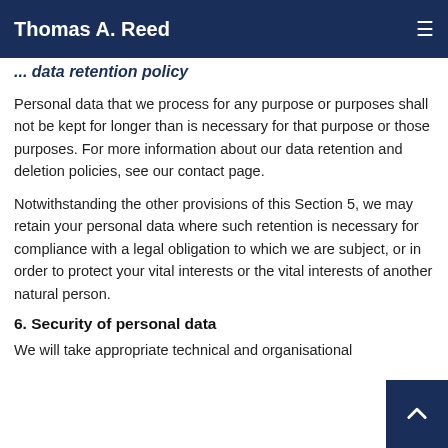Thomas A. Reed
... data retention policy
Personal data that we process for any purpose or purposes shall not be kept for longer than is necessary for that purpose or those purposes. For more information about our data retention and deletion policies, see our contact page.
Notwithstanding the other provisions of this Section 5, we may retain your personal data where such retention is necessary for compliance with a legal obligation to which we are subject, or in order to protect your vital interests or the vital interests of another natural person.
6. Security of personal data
We will take appropriate technical and organisational